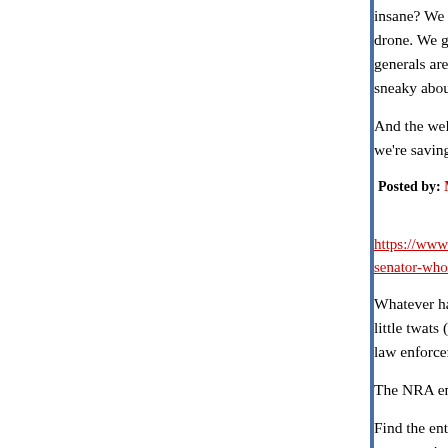insane? We picked a spot very carefully and poke drone. We got a really good look at their S-300 ra generals are all kicking themselves that they got t sneaky about how we call off the strikes."
And the well-prepped colonel in the background n we're saving civilian lives. The press always eats
Posted by: Michael Cain | June 21, 2019 at 05:10 PM
https://www.mediamatters.org/blog/2019/06/21/nr senator-who-threatened-shoot-law-enforcement/2
Whatever happened to those law and order repub little twats (speaking republicanese here so they c law enforcement officers are scragged by swarthy
The NRA encourages the republican chimp to sho
Find the entire NRA leadership, arrest them, try th conservatives like to waste my tax money that wa fucks with their own weapons.
Posted by: John D. Thullen | June 21, 2019 at 06:14 PM